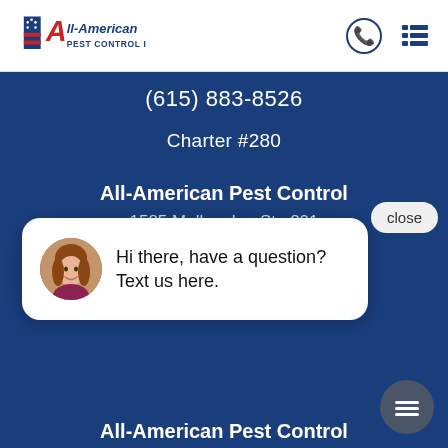[Figure (logo): All-American Pest Control Inc. logo with red A and blue flag design]
(615) 883-8526
Charter #280
All-American Pest Control
1585 Mallory Ln, Ste 201
Brentwood, TN 37027
[Figure (screenshot): Chat popup with agent avatar: Hi there, have a question? Text us here.]
close
All-American Pest Control
149 Bonita Pkwy, Ste 103
Hendersonville, TN 37075
(615) 447-5345